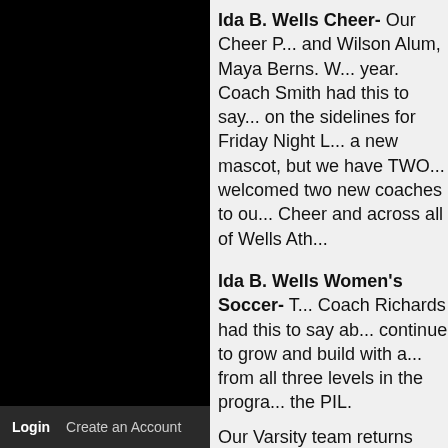[Figure (photo): Black left panel, likely a sidebar or navigation area]
Ida B. Wells Cheer- Our Cheer P... and Wilson Alum, Maya Berns. W... year. Coach Smith had this to say... on the sidelines for Friday Night L... a new mascot, but we have TWO... welcomed two new coaches to ou... Cheer and across all of Wells Ath...
Ida B. Wells Women's Soccer- T... Coach Richards had this to say ab... continue to grow and build with a... from all three levels in the progra... the PIL.
Our Varsity team returns twelve p... goalkeeper Finley Crabtree. Junio... attack going forward, and are sup... whose workrate, desire, and expe... includes the likes of Jesuit, Mount... pushed to their limits, with the ulti...
Login   Create an Account